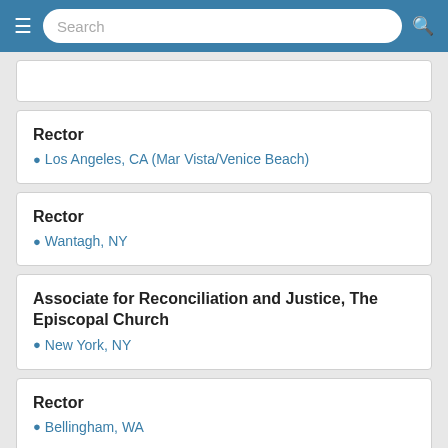Search
Rector | Los Angeles, CA (Mar Vista/Venice Beach)
Rector | Wantagh, NY
Associate for Reconciliation and Justice, The Episcopal Church | New York, NY
Rector | Bellingham, WA
Rector | Springfield, OH
Rector (PT)